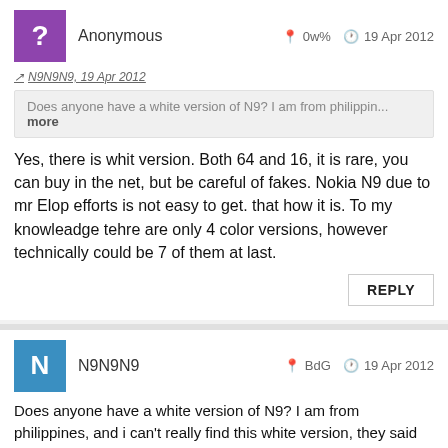Anonymous   0w%   19 Apr 2012
N9N9N9, 19 Apr 2012
Does anyone have a white version of N9? I am from philippin... more
Yes, there is whit version. Both 64 and 16, it is rare, you can buy in the net, but be careful of fakes. Nokia N9 due to mr Elop efforts is not easy to get. that how it is. To my knowleadge tehre are only 4 color versions, however technically could be 7 of them at last.
REPLY
N9N9N9   BdG   19 Apr 2012
Does anyone have a white version of N9? I am from philippines, and i can't really find this white version, they said that it's not availble